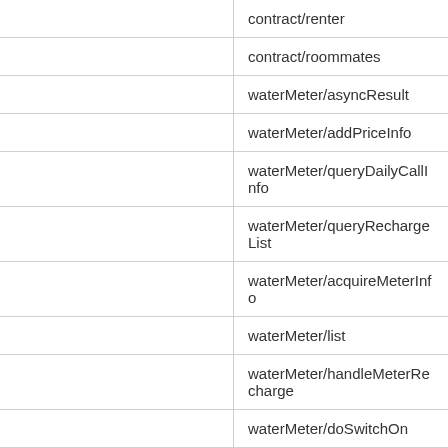|  | contract/renter |
|  | contract/roommates |
|  | waterMeter/asyncResult |
|  | waterMeter/addPriceInfo |
|  | waterMeter/queryDailyCallInfo |
|  | waterMeter/queryRechargeList |
|  | waterMeter/acquireMeterInfo |
|  | waterMeter/list |
|  | waterMeter/handleMeterRecharge |
|  | waterMeter/doSwitchOn |
|  | waterMeter/doSwitchOff |
|  | waterMeter/acquireMeterReadings |
|  | waterMeter/acquireMeterBalance |